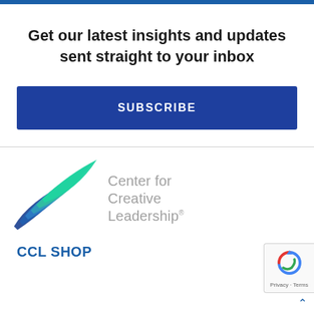Get our latest insights and updates sent straight to your inbox
SUBSCRIBE
[Figure (logo): Center for Creative Leadership logo with stylized wing/leaf graphic in blue and teal gradients, with text 'Center for Creative Leadership']
CCL SHOP